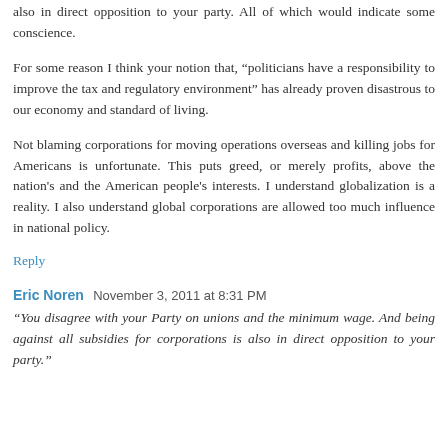also in direct opposition to your party. All of which would indicate some conscience.
For some reason I think your notion that, “politicians have a responsibility to improve the tax and regulatory environment” has already proven disastrous to our economy and standard of living.
Not blaming corporations for moving operations overseas and killing jobs for Americans is unfortunate. This puts greed, or merely profits, above the nation's and the American people's interests. I understand globalization is a reality. I also understand global corporations are allowed too much influence in national policy.
Reply
Eric Noren  November 3, 2011 at 8:31 PM
"You disagree with your Party on unions and the minimum wage. And being against all subsidies for corporations is also in direct opposition to your party."